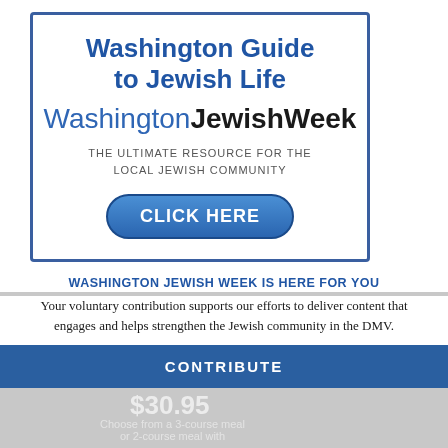Washington Guide to Jewish Life
WashingtonJewishWeek
THE ULTIMATE RESOURCE FOR THE LOCAL JEWISH COMMUNITY
CLICK HERE
WASHINGTON JEWISH WEEK IS HERE FOR YOU
Your voluntary contribution supports our efforts to deliver content that engages and helps strengthen the Jewish community in the DMV.
NOVA EUROPA
TWILIGHT DINNER: $30.95
Choose from a 3-course meal or 2-course meal with
CONTRIBUTE